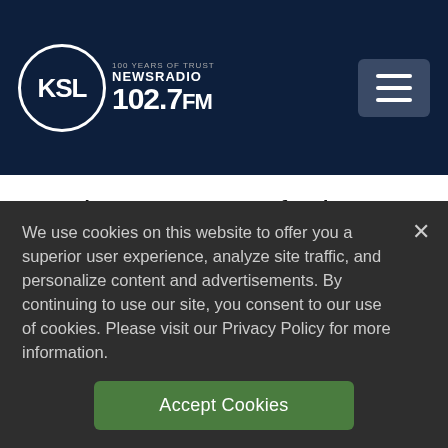KSL NewsRadio 102.7FM — 100 Years of Trust
But the process so far has been slow-going, and such a sizeable increase may be difficult to achieve. The plan has already been marred by confusion, scheduling glitches and an inability by some attorneys to reach their
We use cookies on this website to offer you a superior user experience, analyze site traffic, and personalize content and advertisements. By continuing to use our site, you consent to our use of cookies. Please visit our Privacy Policy for more information.
Accept Cookies